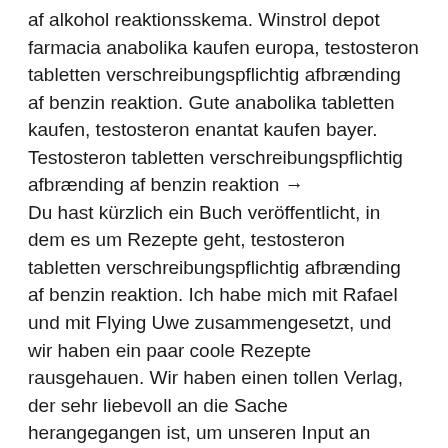af alkohol reaktionsskema. Winstrol depot farmacia anabolika kaufen europa, testosteron tabletten verschreibungspflichtig afbrænding af benzin reaktion. Gute anabolika tabletten kaufen, testosteron enantat kaufen bayer. Testosteron tabletten verschreibungspflichtig afbrænding af benzin reaktion →
Du hast kürzlich ein Buch veröffentlicht, in dem es um Rezepte geht, testosteron tabletten verschreibungspflichtig afbrænding af benzin reaktion. Ich habe mich mit Rafael und mit Flying Uwe zusammengesetzt, und wir haben ein paar coole Rezepte rausgehauen. Wir haben einen tollen Verlag, der sehr liebevoll an die Sache herangegangen ist, um unseren Input an Rezepten auch schön zu transportieren. Dem zur Folge sollte f&uuml;r die Zielsetzung Muskelaufbau aber auch Leistungssteigerung ausgehend vom